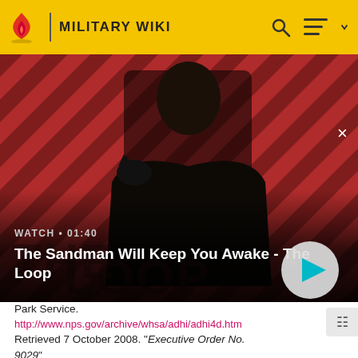MILITARY WIKI
[Figure (screenshot): Video thumbnail for 'The Sandman Will Keep You Awake - The Loop' showing a pale figure in dark clothing with a raven on shoulder against a red striped background. Duration shown as 01:40. Play button visible.]
Park Service.
http://www.nps.gov/archive/whsa/adhi/adhi4d.htm
Retrieved 7 October 2008. "Executive Order No. 9029"
2. ↑ 2.0 2.1 "Development of the Corporal: the embryo of the army missile program, vol. 2" (PDF). Army Ballistic